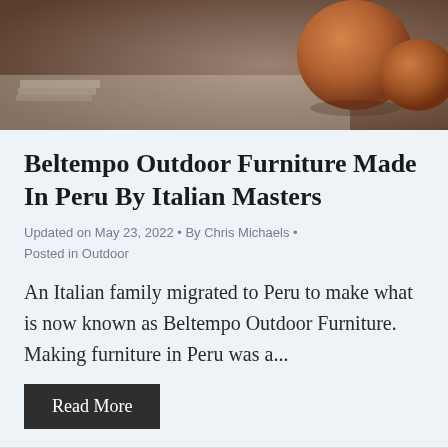[Figure (photo): Photograph of outdoor furniture or ceramics scene with earthy brown tones, partial view of what appears to be a rounded clay/ceramic object on a light surface with some layered materials visible.]
Beltempo Outdoor Furniture Made In Peru By Italian Masters
Updated on May 23, 2022 • By Chris Michaels • Posted in Outdoor
An Italian family migrated to Peru to make what is now known as Beltempo Outdoor Furniture. Making furniture in Peru was a...
Read More